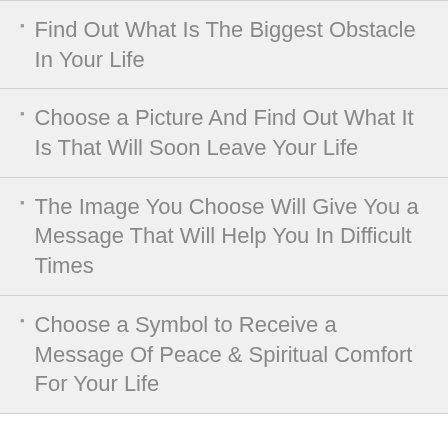Find Out What Is The Biggest Obstacle In Your Life
Choose a Picture And Find Out What It Is That Will Soon Leave Your Life
The Image You Choose Will Give You a Message That Will Help You In Difficult Times
Choose a Symbol to Receive a Message Of Peace & Spiritual Comfort For Your Life